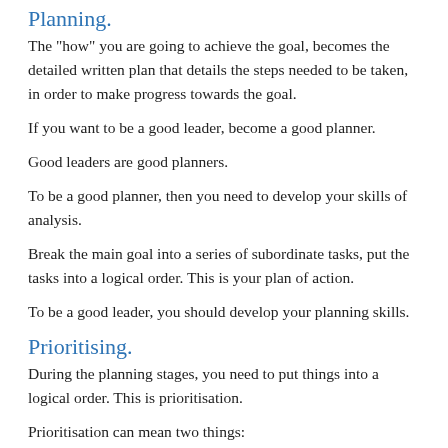Planning.
The "how" you are going to achieve the goal, becomes the detailed written plan that details the steps needed to be taken, in order to make progress towards the goal.
If you want to be a good leader, become a good planner.
Good leaders are good planners.
To be a good planner, then you need to develop your skills of analysis.
Break the main goal into a series of subordinate tasks, put the tasks into a logical order. This is your plan of action.
To be a good leader, you should develop your planning skills.
Prioritising.
During the planning stages, you need to put things into a logical order. This is prioritisation.
Prioritisation can mean two things:
Putting tasks into order of value.
Putting tasks into their most effective logical sequence.